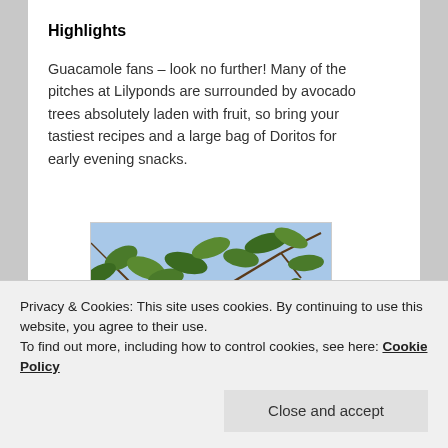Highlights
Guacamole fans – look no further! Many of the pitches at Lilyponds are surrounded by avocado trees absolutely laden with fruit, so bring your tastiest recipes and a large bag of Doritos for early evening snacks.
[Figure (photo): Photograph of avocado tree branches laden with green avocado fruits against a blue sky, with green leaves visible throughout.]
Privacy & Cookies: This site uses cookies. By continuing to use this website, you agree to their use.
To find out more, including how to control cookies, see here: Cookie Policy